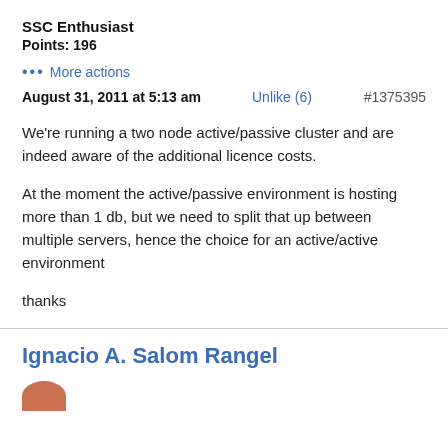SSC Enthusiast
Points: 196
••• More actions
August 31, 2011 at 5:13 am    Unlike (6)    #1375395
We're running a two node active/passive cluster and are indeed aware of the additional licence costs.
At the moment the active/passive environment is hosting more than 1 db, but we need to split that up between multiple servers, hence the choice for an active/active environment
thanks
Ignacio A. Salom Rangel